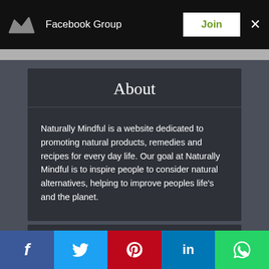Facebook Group  Join  ×
About
Naturally Mindful is a website dedicated to promoting natural products, remedies and recipes for every day life. Our goal at Naturally Mindful is to inspire people to consider natural alternatives, helping to improve peoples life's and the planet.
Top Posts
f  t  p  in  WhatsApp